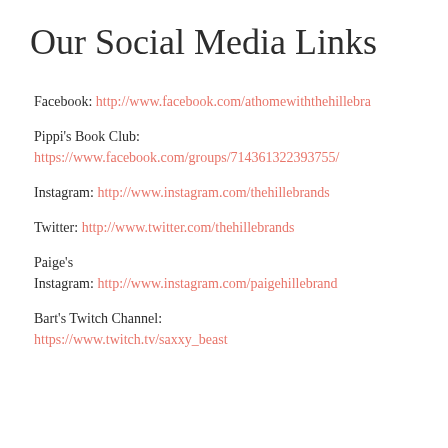Our Social Media Links
Facebook: http://www.facebook.com/athomewiththehillebra
Pippi's Book Club:
https://www.facebook.com/groups/714361322393755/
Instagram: http://www.instagram.com/thehillebrands
Twitter: http://www.twitter.com/thehillebrands
Paige's
Instagram: http://www.instagram.com/paigehillebrand
Bart's Twitch Channel:
https://www.twitch.tv/saxxy_beast